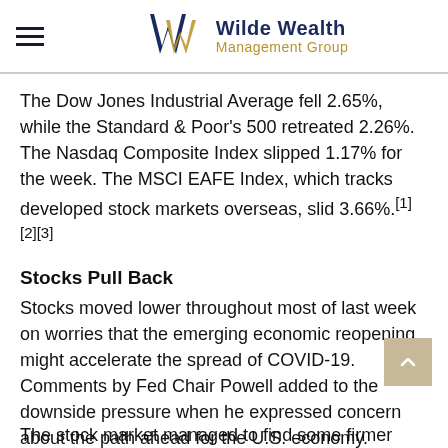Wilde Wealth Management Group
The Dow Jones Industrial Average fell 2.65%, while the Standard & Poor's 500 retreated 2.26%. The Nasdaq Composite Index slipped 1.17% for the week. The MSCI EAFE Index, which tracks developed stock markets overseas, slid 3.66%.[1][2][3]
Stocks Pull Back
Stocks moved lower throughout most of last week on worries that the emerging economic reopening might accelerate the spread of COVID-19. Comments by Fed Chair Powell added to the downside pressure when he expressed concern about the path ahead for the U.S. economy.
The stock market managed to find some firmer